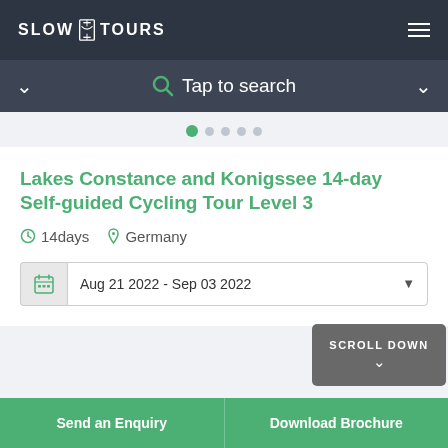SLOW TOURS
Tap to search
Lakes Constance and Konigssee 14-day Self-guided Cycling Tour Level 3
14days   Germany
Aug 21 2022 - Sep 03 2022
SCROLL DOWN
Send an Enquiry
Download Brochure